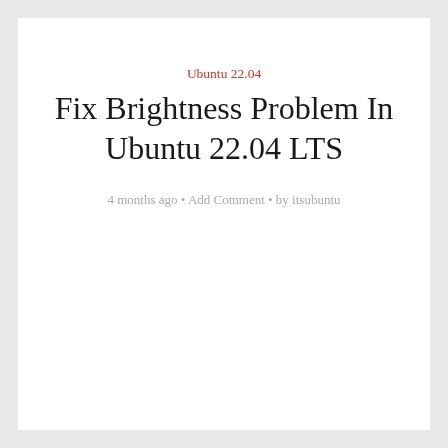Ubuntu 22.04
Fix Brightness Problem In Ubuntu 22.04 LTS
4 months ago • Add Comment • by itsubuntu